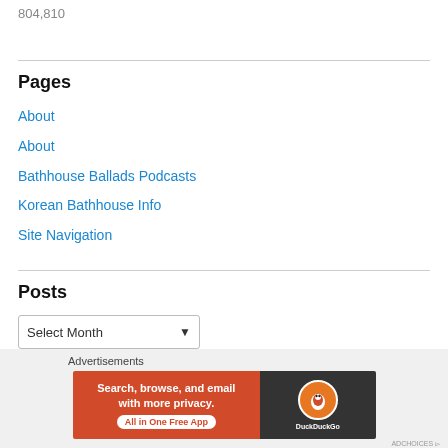804,810
Pages
About
About
Bathhouse Ballads Podcasts
Korean Bathhouse Info
Site Navigation
Posts
Select Month
[Figure (screenshot): DuckDuckGo advertisement banner: 'Search, browse, and email with more privacy. All in One Free App' with DuckDuckGo logo on dark background]